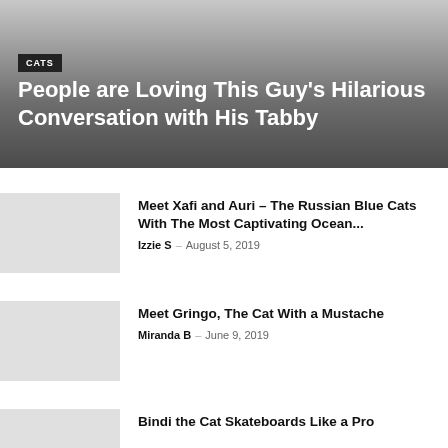[Figure (photo): Hero banner with gradient gray background]
CATS
People are Loving This Guy’s Hilarious Conversation with His Tabby
Meet Xafi and Auri – The Russian Blue Cats With The Most Captivating Ocean... | Izzie S – August 5, 2019
Meet Gringo, The Cat With a Mustache | Miranda B – June 9, 2019
Bindi the Cat Skateboards Like a Pro